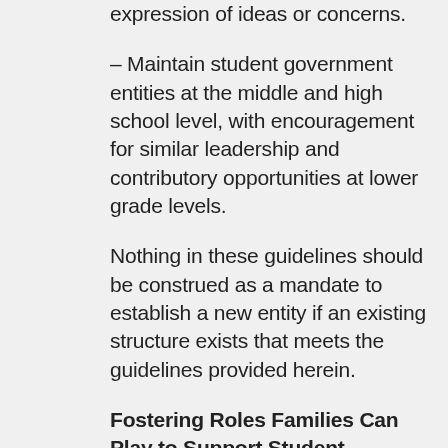expression of ideas or concerns.
– Maintain student government entities at the middle and high school level, with encouragement for similar leadership and contributory opportunities at lower grade levels.
Nothing in these guidelines should be construed as a mandate to establish a new entity if an existing structure exists that meets the guidelines provided herein.
Fostering Roles Families Can Play to Support Student Success